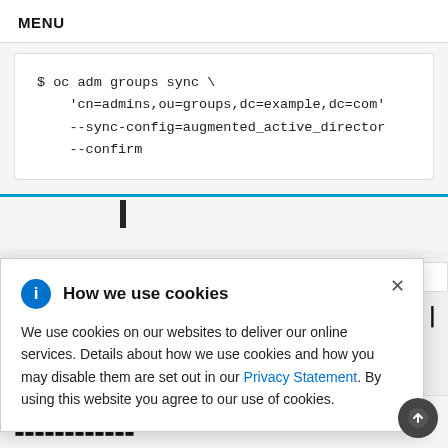MENU
$ oc adm groups sync \
    'cn=admins,ou=groups,dc=example,dc=com'
    --sync-config=augmented_active_director
    --confirm
How we use cookies
We use cookies on our websites to deliver our online services. Details about how we use cookies and how you may disable them are set out in our Privacy Statement. By using this website you agree to our use of cookies.